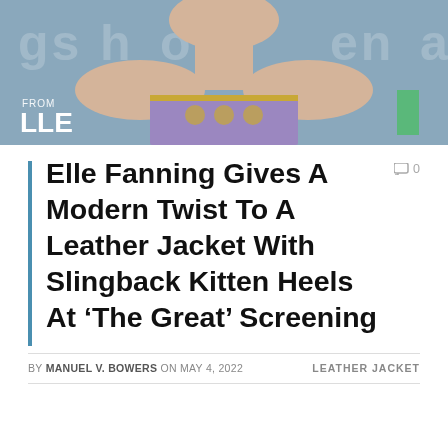[Figure (photo): Photo of a woman in a strapless purple/gold patterned dress at a red carpet event, with a gray background showing partial text. A 'FROM LLE' badge appears in the lower left of the photo.]
Elle Fanning Gives A Modern Twist To A Leather Jacket With Slingback Kitten Heels At ‘The Great’ Screening
BY MANUEL V. BOWERS ON MAY 4, 2022   LEATHER JACKET